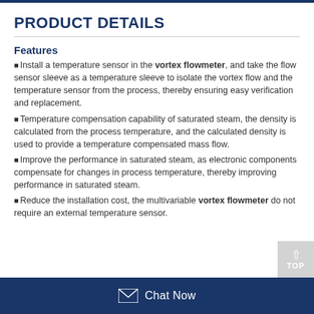PRODUCT DETAILS
Features
Install a temperature sensor in the vortex flowmeter, and take the flow sensor sleeve as a temperature sleeve to isolate the vortex flow and the temperature sensor from the process, thereby ensuring easy verification and replacement.
Temperature compensation capability of saturated steam, the density is calculated from the process temperature, and the calculated density is used to provide a temperature compensated mass flow.
Improve the performance in saturated steam, as electronic components compensate for changes in process temperature, thereby improving performance in saturated steam.
Reduce the installation cost, the multivariable vortex flowmeter do not require an external temperature sensor.
Chat Now